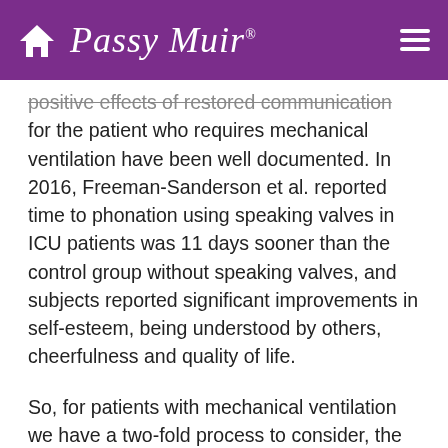Passy Muir
positive effects of restored communication for the patient who requires mechanical ventilation have been well documented. In 2016, Freeman-Sanderson et al. reported time to phonation using speaking valves in ICU patients was 11 days sooner than the control group without speaking valves, and subjects reported significant improvements in self-esteem, being understood by others, cheerfulness and quality of life.
So, for patients with mechanical ventilation we have a two-fold process to consider, the changes to the physiologic mechanics of the